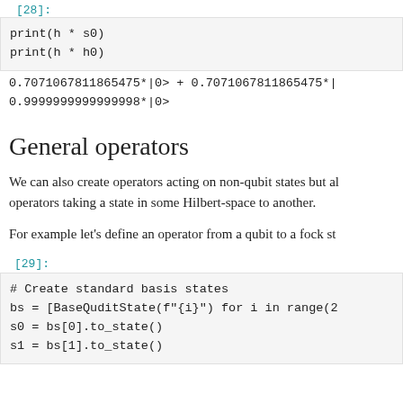[28]:
print(h * s0)
print(h * h0)
0.7071067811865475*|0> + 0.7071067811865475*|
0.9999999999999998*|0>
General operators
We can also create operators acting on non-qubit states but also operators taking a state in some Hilbert-space to another.
For example let's define an operator from a qubit to a fock sta
[29]:
# Create standard basis states
bs = [BaseQuditState(f"{i}") for i in range(2
s0 = bs[0].to_state()
s1 = bs[1].to_state()